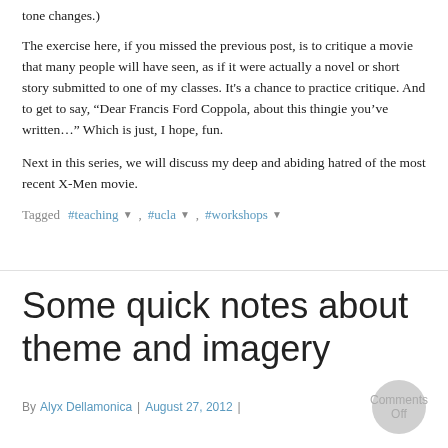tone changes.)
The exercise here, if you missed the previous post, is to critique a movie that many people will have seen, as if it were actually a novel or short story submitted to one of my classes. It's a chance to practice critique. And to get to say, “Dear Francis Ford Coppola, about this thingie you’ve written…” Which is just, I hope, fun.
Next in this series, we will discuss my deep and abiding hatred of the most recent X-Men movie.
Tagged: #teaching, #ucla, #workshops
Some quick notes about theme and imagery
By Alyx Dellamonica | August 27, 2012 | Comments Off